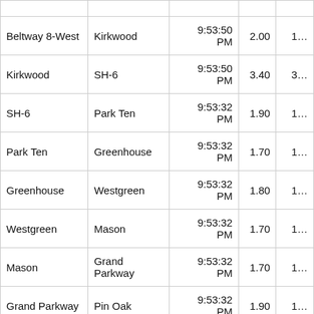| From | To | Time | Value1 | Value2(partial) |
| --- | --- | --- | --- | --- |
| Beltway 8-West | Kirkwood | 9:53:50 PM | 2.00 | 1... |
| Kirkwood | SH-6 | 9:53:50 PM | 3.40 | 3... |
| SH-6 | Park Ten | 9:53:32 PM | 1.90 | 1... |
| Park Ten | Greenhouse | 9:53:32 PM | 1.70 | 1... |
| Greenhouse | Westgreen | 9:53:32 PM | 1.80 | 1... |
| Westgreen | Mason | 9:53:32 PM | 1.70 | 1... |
| Mason | Grand Parkway | 9:53:32 PM | 1.70 | 1... |
| Grand Parkway | Pin Oak | 9:53:32 PM | 1.90 | 1... |
| Pin Oak | Pederson | 9:53:32 PM | 3.70 | 3... |